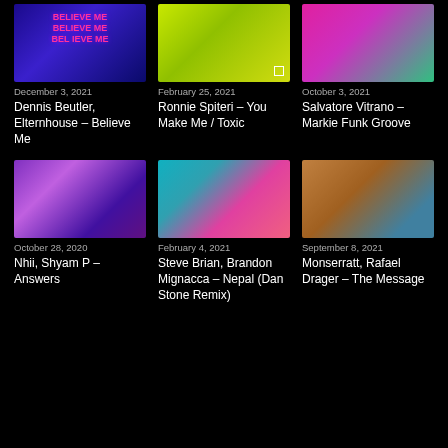[Figure (illustration): Album cover for Believe Me - blue/purple gradient with pink neon text]
December 3, 2021
Dennis Beutler, Elternhouse – Believe Me
[Figure (illustration): Album cover - yellow-green abstract]
February 25, 2021
Ronnie Spiteri – You Make Me / Toxic
[Figure (illustration): Album cover - pink and teal circular design]
October 3, 2021
Salvatore Vitrano – Markie Funk Groove
[Figure (illustration): Album cover for Answers - purple floral/fractal]
October 28, 2020
Nhii, Shyam P – Answers
[Figure (illustration): Album cover - teal background with pink circle pattern]
February 4, 2021
Steve Brian, Brandon Mignacca – Nepal (Dan Stone Remix)
[Figure (photo): Album cover for The Message - person portrait with fabric]
September 8, 2021
Monserratt, Rafael Drager – The Message